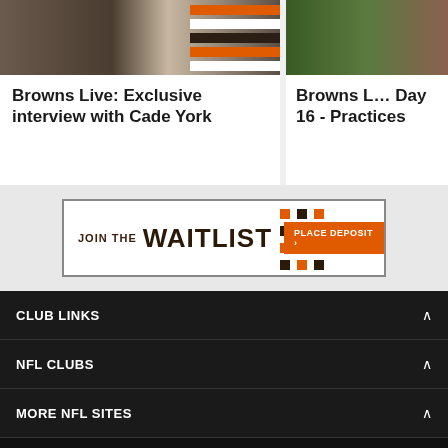[Figure (photo): Sports photo of Browns players, with orange and dark stripes graphic element]
Browns Live: Exclusive interview with Cade York
[Figure (photo): Sports photo of Browns player on green field]
Browns Live Day 16 - Practices
[Figure (infographic): JOIN THE WAITLIST advertisement banner with PLACE DEPOSIT button]
CLUB LINKS
NFL CLUBS
MORE NFL SITES
Download apps
[Figure (logo): Download on the App Store button]
[Figure (logo): Get it on Google Play button]